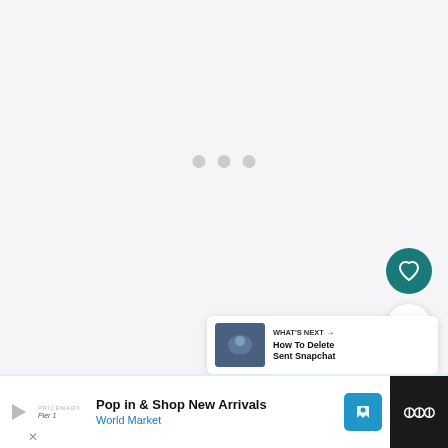[Figure (screenshot): Light gray loading/blank area with three small gray dots indicating a loading state]
[Figure (screenshot): Teal circular heart/favorite button]
[Figure (screenshot): White circular share button with share icon]
[Figure (screenshot): What's Next card showing thumbnail and text 'How To Delete Sent Snapchat']
Info
[Figure (screenshot): Advertisement banner: Pop in & Shop New Arrivals - World Market, with navigation icon and app icon]